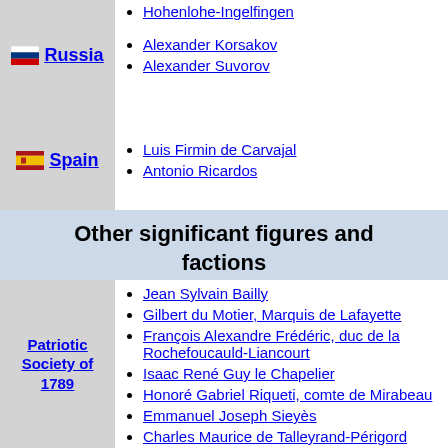Alexander Korsakov
Alexander Suvorov
Luis Firmin de Carvajal
Antonio Ricardos
Other significant figures and factions
Jean Sylvain Bailly
Gilbert du Motier, Marquis de Lafayette
François Alexandre Frédéric, duc de la Rochefoucauld-Liancourt
Isaac René Guy le Chapelier
Honoré Gabriel Riqueti, comte de Mirabeau
Emmanuel Joseph Sieyès
Charles Maurice de Talleyrand-Périgord
Nicolas de Condorcet
Grace Elliott
Arnaud de La Porte
Jean-Sifrein Maury
François-Marie, marquis de Barthélemy
Guillaume-Mathieu Dumas
Antoine Barnave